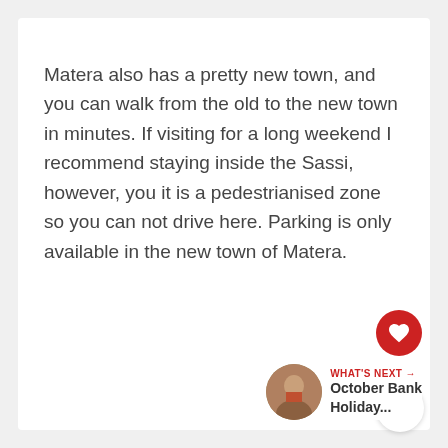Matera also has a pretty new town, and you can walk from the old to the new town in minutes. If visiting for a long weekend I recommend staying inside the Sassi, however, you it is a pedestrianised zone so you can not drive here. Parking is only available in the new town of Matera.
[Figure (other): Red circular like/heart button with heart icon, count of 5 below it, and a white circular share button with share icon]
[Figure (other): WHAT'S NEXT promo strip with a circular photo of a woman and text 'October Bank Holiday...']